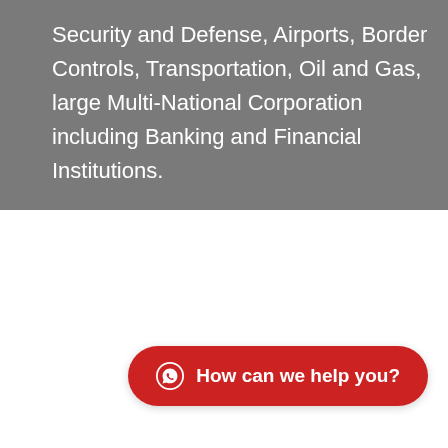Security and Defense, Airports, Border Controls, Transportation, Oil and Gas, large Multi-National Corporation including Banking and Financial Institutions.
How can we help you?